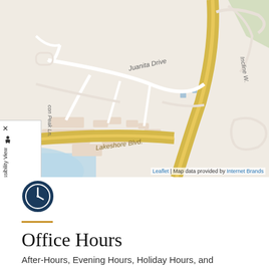[Figure (map): Street map showing Juanita Drive, Lakeshore Blvd., and Incline W. road intersections with a yellow highlighted main road. Map credit: Leaflet | Map data provided by Internet Brands.]
Leaflet | Map data provided by Internet Brands
[Figure (illustration): Dark navy circle clock icon]
Office Hours
After-Hours, Evening Hours, Holiday Hours, and Emergency Appointments Available